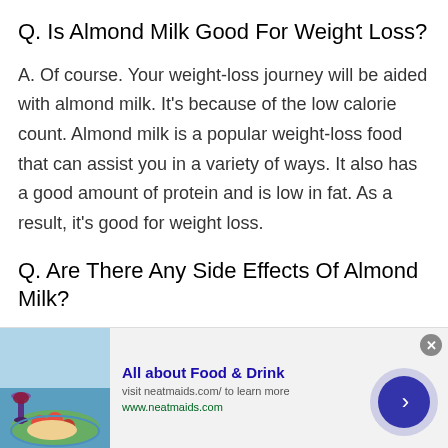Q. Is Almond Milk Good For Weight Loss?
A. Of course. Your weight-loss journey will be aided with almond milk. It's because of the low calorie count. Almond milk is a popular weight-loss food that can assist you in a variety of ways. It also has a good amount of protein and is low in fat. As a result, it's good for weight loss.
Q. Are There Any Side Effects Of Almond Milk?
A. Of course. Almond milk may have some negative consequences. These adverse effects, on the other hand,
[Figure (other): Advertisement banner for All about Food & Drink on neatmaids.com, showing food and drink image with navigation button]